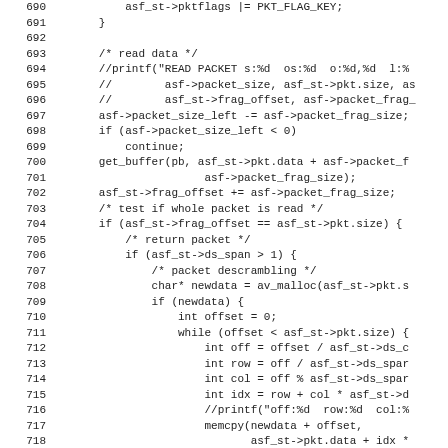[Figure (other): Source code listing showing C code for ASF packet reading and descrambling, lines 690-722]